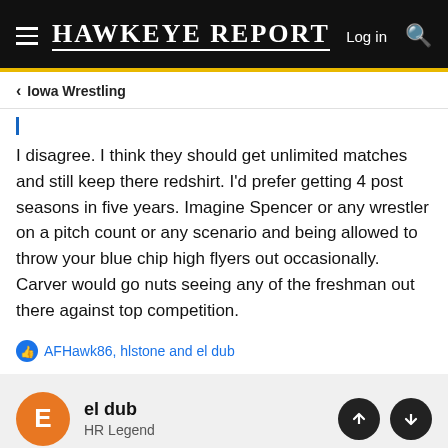HAWKEYE REPORT  Log in
Iowa Wrestling
I disagree. I think they should get unlimited matches and still keep there redshirt. I'd prefer getting 4 post seasons in five years. Imagine Spencer or any wrestler on a pitch count or any scenario and being allowed to throw your blue chip high flyers out occasionally. Carver would go nuts seeing any of the freshman out there against top competition.
AFHawk86, hlstone and el dub
el dub
HR Legend